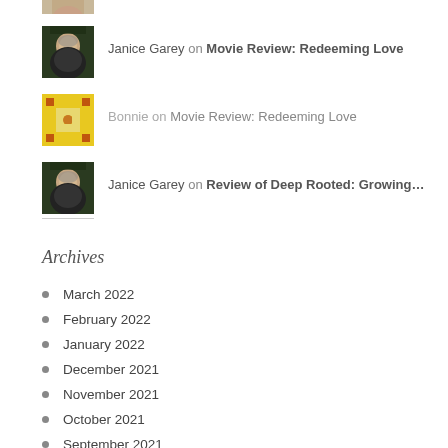[Figure (photo): Partial photo of a woman's face at the top, cropped]
Janice Garey on Movie Review: Redeeming Love
[Figure (photo): Yellow and black geometric/pixel pattern avatar for Bonnie]
Bonnie on Movie Review: Redeeming Love
[Figure (photo): Photo of Janice Garey, a woman with glasses on her head]
Janice Garey on Review of Deep Rooted: Growing…
Archives
March 2022
February 2022
January 2022
December 2021
November 2021
October 2021
September 2021